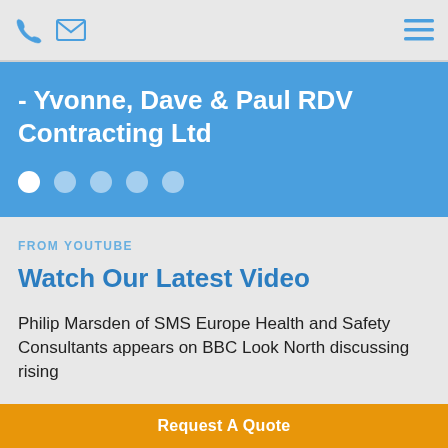[phone icon] [email icon] [menu icon]
- Yvonne, Dave & Paul RDV Contracting Ltd
[Figure (other): Carousel navigation dots: 5 dots, first is white/active, remaining 4 are semi-transparent/inactive]
FROM YOUTUBE
Watch Our Latest Video
Philip Marsden of SMS Europe Health and Safety Consultants appears on BBC Look North discussing rising
Request A Quote